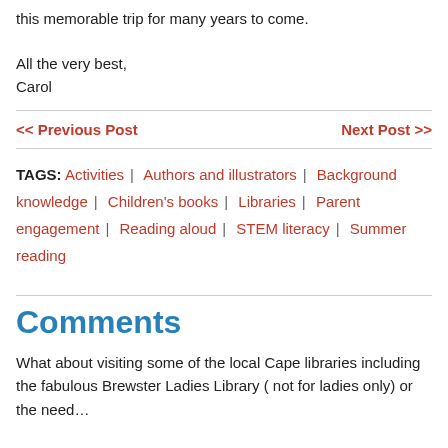this memorable trip for many years to come.

All the very best,
Carol
<< Previous Post    Next Post >>
TAGS: Activities | Authors and illustrators | Background knowledge | Children's books | Libraries | Parent engagement | Reading aloud | STEM literacy | Summer reading
Comments
What about visiting some of the local Cape libraries including the fabulous Brewster Ladies Library ( not for ladies only) or the need…